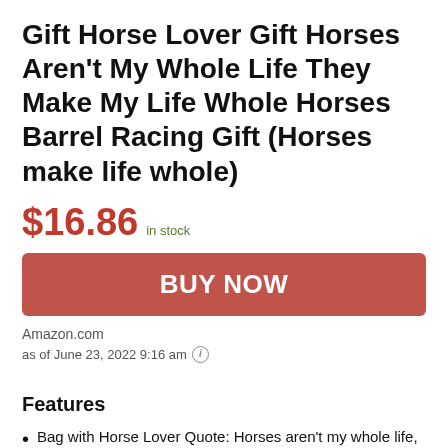Gift Horse Lover Gift Horses Aren't My Whole Life They Make My Life Whole Horses Barrel Racing Gift (Horses make life whole)
$16.86 in stock
BUY NOW
Amazon.com
as of June 23, 2022 9:16 am
Features
Bag with Horse Lover Quote: Horses aren't my whole life, they make my life whole. This adorable cosmetic makeup bag is a wonderful way to show your love for